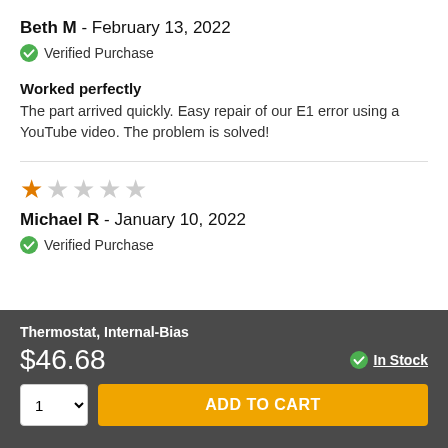Beth M - February 13, 2022
Verified Purchase
Worked perfectly
The part arrived quickly. Easy repair of our E1 error using a YouTube video. The problem is solved!
[Figure (other): 1 out of 5 stars rating]
Michael R - January 10, 2022
Verified Purchase
Thermostat, Internal-Bias
$46.68
In Stock
ADD TO CART